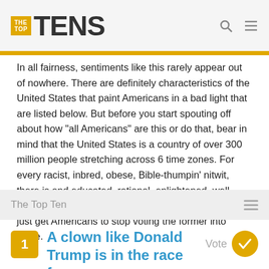THE TOP TENS
In all fairness, sentiments like this rarely appear out of nowhere. There are definitely characteristics of the United States that paint Americans in a bad light that are listed below. But before you start spouting off about how "all Americans" are this or do that, bear in mind that the United States is a country of over 300 million people stretching across 6 time zones. For every racist, inbred, obese, Bible-thumpin' nitwit, there is and educated, rational, enlightened, well-meaning citizen to balance them out. Now if we could just get Americans to stop voting the former into office.
The Top Ten
1 A clown like Donald Trump is in the race for president